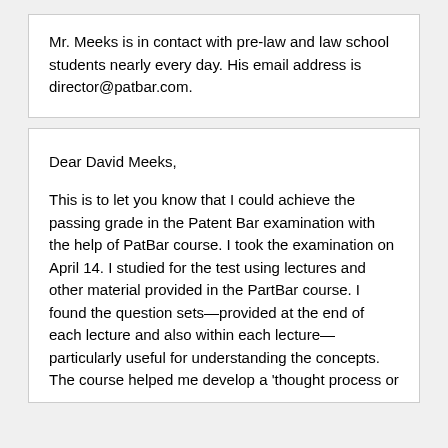Mr. Meeks is in contact with pre-law and law school students nearly every day. His email address is director@patbar.com.
Dear David Meeks,

This is to let you know that I could achieve the passing grade in the Patent Bar examination with the help of PatBar course. I took the examination on April 14. I studied for the test using lectures and other material provided in the PartBar course. I found the question sets—provided at the end of each lecture and also within each lecture—particularly useful for understanding the concepts. The course helped me develop a 'thought process or